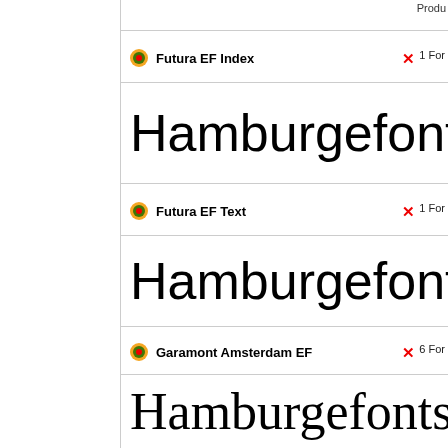Futura EF Index
Hamburgefonts
Futura EF Text
Hamburgefonts
Garamont Amsterdam EF
Hamburgefonts
Hamburgefonts (italic)
Hamburgefonts (bold)